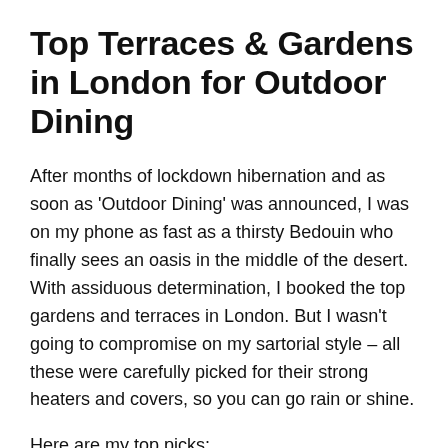Top Terraces & Gardens in London for Outdoor Dining
After months of lockdown hibernation and as soon as 'Outdoor Dining' was announced, I was on my phone as fast as a thirsty Bedouin who finally sees an oasis in the middle of the desert. With assiduous determination, I booked the top gardens and terraces in London. But I wasn't going to compromise on my sartorial style – all these were carefully picked for their strong heaters and covers, so you can go rain or shine.
Here are my top picks:
Annabels Garden
Best For: Ladies who Lunch and Celeb Spotting